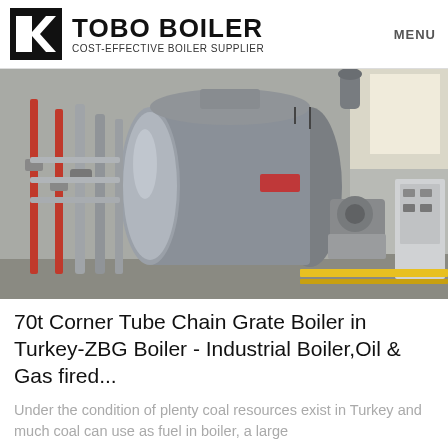TOBO BOILER COST-EFFECTIVE BOILER SUPPLIER MENU
[Figure (photo): Industrial boiler installation showing a large horizontal cylindrical gas/oil-fired boiler with associated piping, valves and a control panel in an industrial facility.]
70t Corner Tube Chain Grate Boiler in Turkey-ZBG Boiler - Industrial Boiler,Oil & Gas fired...
Under the condition of plenty coal resources exist in Turkey and much coal can use as fuel in boiler, a large...